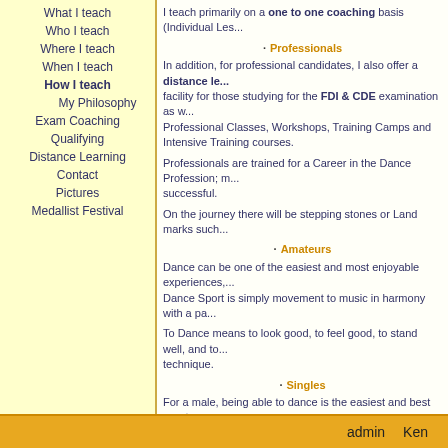What I teach
Who I teach
Where I teach
When I teach
How I teach
My Philosophy
Exam Coaching
Qualifying
Distance Learning
Contact
Pictures
Medallist Festival
I teach primarily on a one to one coaching basis (Individual Les...
Professionals
In addition, for professional candidates, I also offer a distance le... facility for those studying for the FDI & CDE examination as w... Professional Classes, Workshops, Training Camps and Intensive Training courses.
Professionals are trained for a Career in the Dance Profession; m... successful.
On the journey there will be stepping stones or Land marks such...
Amateurs
Dance can be one of the easiest and most enjoyable experiences,... Dance Sport is simply movement to music in harmony with a pa...
To Dance means to look good, to feel good, to stand well, and to... technique.
Singles
For a male, being able to dance is the easiest and best way to me... regarded by many women as sexy, maybe the reason that women...
In spite of this amazingly there are generally worldwide still mo...
I teach single females of all ages wishing to just enjoy their dan... Medal tests, Medal festivals, Pro-Am Competitions or Showc...
However I help you, the underlying aim is always to improve the... developing movement and softness in your dancing, whilst mak...
Quality & Perfectio...
Lon...
To book a lesson please contact by Email or phone 0049 17...
admin   Ken